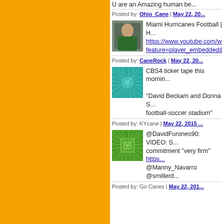U are an Amazing human be...
Posted by: Ohio_Cane | May 22, 20...
[Figure (photo): Football player avatar photo]
Miami Hurricanes Football | h...
https://www.youtube.com/wa... feature=player_embedded&v...
Posted by: CaneRock | May 22, 20...
[Figure (illustration): Teal geometric pattern avatar]
CBS4 ticker tape this mornin...
"David Beckam and Donna S... football-soccer stadium"
Posted by: KYcane | May 22, 2015 ...
[Figure (illustration): Green geometric pattern avatar]
@DavidFurones90: VIDEO: S... commitment "very firm" https... @Manny_Navarro @smillerd...
Posted by: Go Canes | May 22, 201...